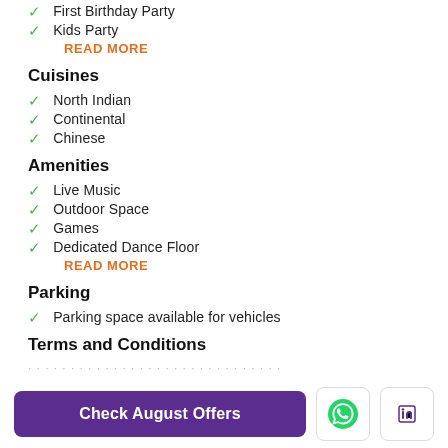First Birthday Party
Kids Party
READ MORE
Cuisines
North Indian
Continental
Chinese
Amenities
Live Music
Outdoor Space
Games
Dedicated Dance Floor
READ MORE
Parking
Parking space available for vehicles
Terms and Conditions
Check August Offers